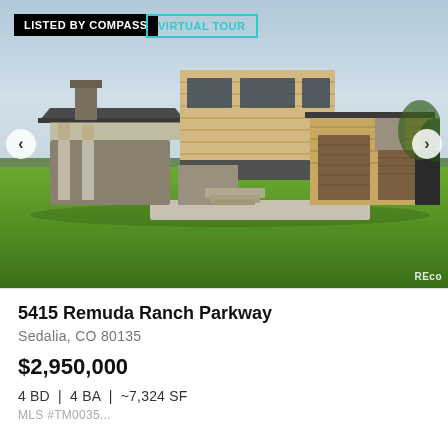[Figure (photo): Exterior rendering of a modern luxury home with wood siding, stone accents, large garage doors, set on a green lawn with cloudy sky. Overlaid with 'LISTED BY COMPASS' black badge and 'VIRTUAL TOUR' teal-outlined badge at top left. Left and right navigation arrows on sides. REco watermark at bottom right.]
5415 Remuda Ranch Parkway
Sedalia, CO 80135
$2,950,000
4 BD  |  4 BA  |  ~7,324 SF
MLS #TM0035...